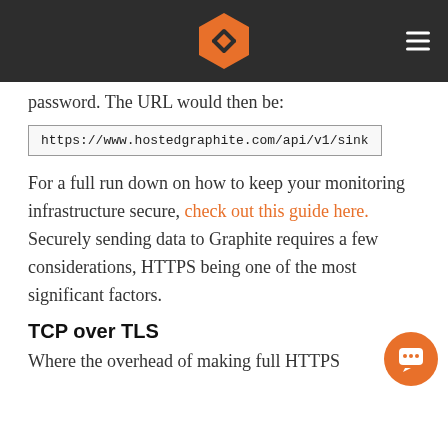Hosted Graphite logo and navigation
password. The URL would then be:
https://www.hostedgraphite.com/api/v1/sink
For a full run down on how to keep your monitoring infrastructure secure, check out this guide here. Securely sending data to Graphite requires a few considerations, HTTPS being one of the most significant factors.
TCP over TLS
Where the overhead of making full HTTPS